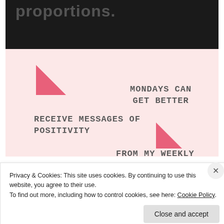[Figure (photo): Dark/black and white image with partially visible text 'proportions.' in large semi-transparent white letters at the top]
MONDAYS CAN GET BETTER
RECEIVE MESSAGES OF POSITIVITY
FROM MY WEEKLY
Privacy & Cookies: This site uses cookies. By continuing to use this website, you agree to their use.
To find out more, including how to control cookies, see here: Cookie Policy